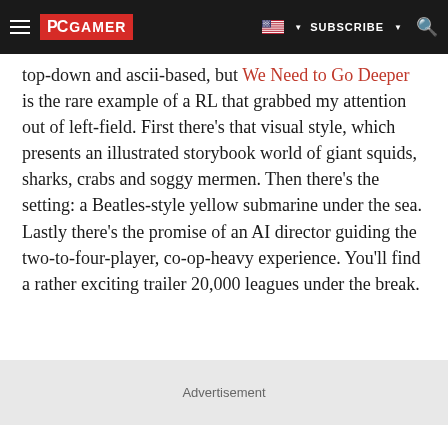PC GAMER | SUBSCRIBE
top-down and ascii-based, but We Need to Go Deeper is the rare example of a RL that grabbed my attention out of left-field. First there's that visual style, which presents an illustrated storybook world of giant squids, sharks, crabs and soggy mermen. Then there's the setting: a Beatles-style yellow submarine under the sea. Lastly there's the promise of an AI director guiding the two-to-four-player, co-op-heavy experience. You'll find a rather exciting trailer 20,000 leagues under the break.
Advertisement